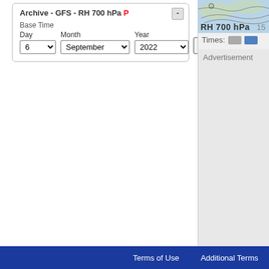Archive - GFS - RH 700 hPa P
Base Time
Day
Month
Year
6 | September | 2022 | go
[Figure (map): Partial meteorological map preview showing RH 700 hPa weather chart with contours]
RH 700 hPa
15
Times:
Advertisement
Terms of Use   Additional Terms